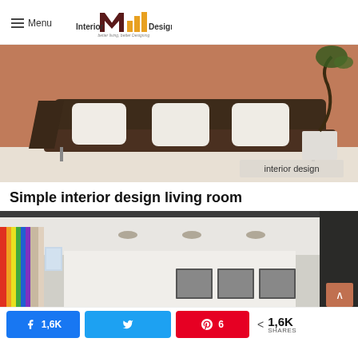Menu | Interior Design 4 — better living, better Designing
[Figure (photo): Modern minimalist living room with dark leather/fabric sofa, white cushions, and a potted bonsai tree against a warm terracotta wall. Badge reading 'interior design' in bottom right corner.]
Simple interior design living room
[Figure (photo): Modern interior living space with white walls, recessed lighting, colorful wall art on left, and framed black-and-white photographs on the wall.]
1,6K  [Facebook share]  [Twitter share]  6 [Pinterest]  < 1,6K SHARES